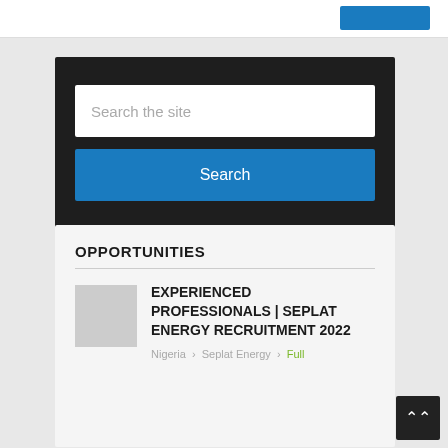[Figure (screenshot): Top white navigation bar with a blue button on the right]
[Figure (screenshot): Dark search widget with a text input labeled 'Search the site' and a blue Search button]
OPPORTUNITIES
EXPERIENCED PROFESSIONALS | SEPLAT ENERGY RECRUITMENT 2022
Nigeria · Seplat Energy · Full